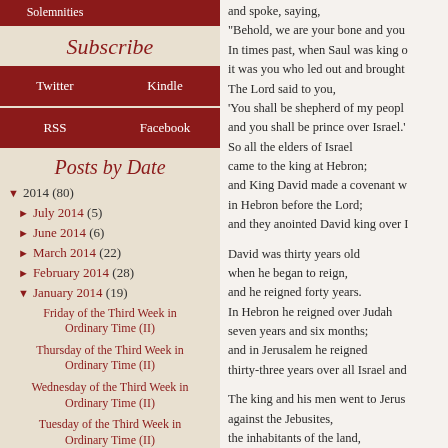Solemnities
Subscribe
Twitter
Kindle
RSS
Facebook
Posts by Date
▼ 2014 (80)
► July 2014 (5)
► June 2014 (6)
► March 2014 (22)
► February 2014 (28)
▼ January 2014 (19)
Friday of the Third Week in Ordinary Time (II)
Thursday of the Third Week in Ordinary Time (II)
Wednesday of the Third Week in Ordinary Time (II)
Tuesday of the Third Week in Ordinary Time (II)
and spoke, saying,
"Behold, we are your bone and you
In times past, when Saul was king o
it was you who led out and brought
The Lord said to you,
'You shall be shepherd of my peopl
and you shall be prince over Israel.'
So all the elders of Israel
came to the king at Hebron;
and King David made a covenant w
in Hebron before the Lord;
and they anointed David king over I

David was thirty years old
when he began to reign,
and he reigned forty years.
In Hebron he reigned over Judah
seven years and six months;
and in Jerusalem he reigned
thirty-three years over all Israel and

The king and his men went to Jerus
against the Jebusites,
the inhabitants of the land,
who spoke to David, saying,